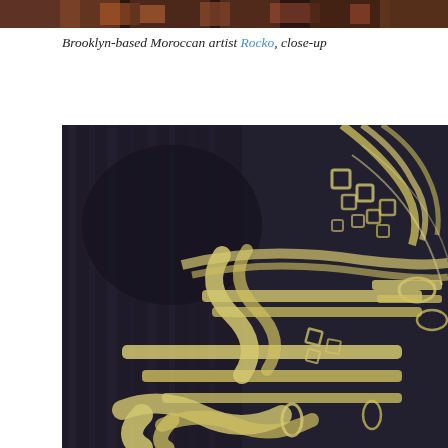[Figure (photo): Top partial cropped image of Moroccan calligraphy artwork, narrow horizontal strip]
Brooklyn-based Moroccan artist Rocko, close-up
[Figure (photo): Close-up photograph of abstract calligraphic artwork by Brooklyn-based Moroccan artist Rocko. Yellow/golden brush strokes forming intricate Arabic-style calligraphy patterns on a dark navy/black background. The strokes form flowing, ornate interconnected letterforms with scroll-like embellishments.]